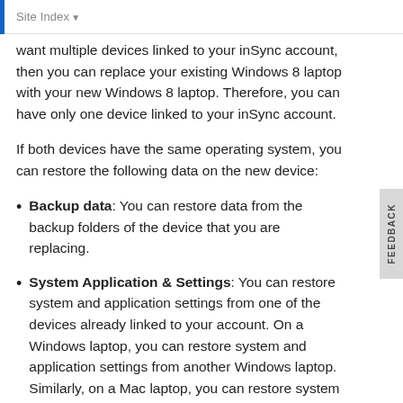Site Index
want multiple devices linked to your inSync account, then you can replace your existing Windows 8 laptop with your new Windows 8 laptop. Therefore, you can have only one device linked to your inSync account.
If both devices have the same operating system, you can restore the following data on the new device:
Backup data: You can restore data from the backup folders of the device that you are replacing.
System Application & Settings: You can restore system and application settings from one of the devices already linked to your account. On a Windows laptop, you can restore system and application settings from another Windows laptop. Similarly, on a Mac laptop, you can restore system and application settings from another Mac laptop. See, Restore system settings.